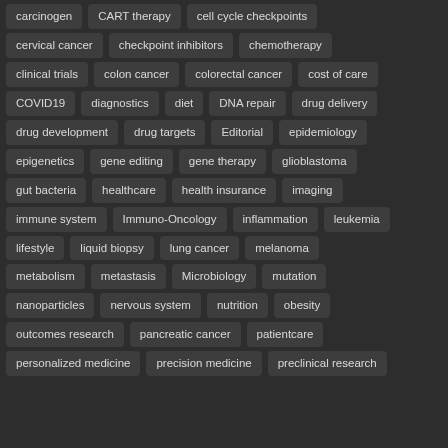carcinogen
CART therapy
cell cycle checkpoints
cervical cancer
checkpoint inhibitors
chemotherapy
clinical trials
colon cancer
colorectal cancer
cost of care
COVID19
diagnostics
diet
DNA repair
drug delivery
drug development
drug targets
Editorial
epidemiology
epigenetics
gene editing
gene therapy
glioblastoma
gut bacteria
healthcare
health insurance
imaging
immune system
Immuno-Oncology
inflammation
leukemia
lifestyle
liquid biopsy
lung cancer
melanoma
metabolism
metastasis
Microbiology
mutation
nanoparticles
nervous system
nutrition
obesity
outcomes research
pancreatic cancer
patientcare
personalized medicine
precision medicine
preclinical research